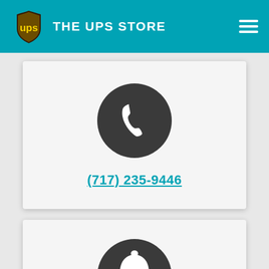THE UPS STORE
[Figure (illustration): Dark circular icon with white telephone handset]
(717) 235-9446
[Figure (illustration): Dark circular icon with white bell/notification symbol]
CONTACT US >